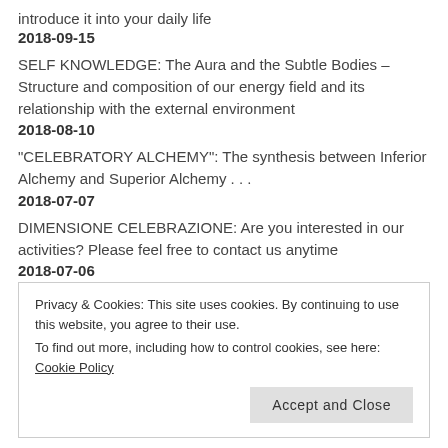introduce it into your daily life
2018-09-15
SELF KNOWLEDGE: The Aura and the Subtle Bodies – Structure and composition of our energy field and its relationship with the external environment
2018-08-10
“CELEBRATORY ALCHEMY”: The synthesis between Inferior Alchemy and Superior Alchemy . . .
2018-07-07
DIMENSIONE CELEBRAZIONE: Are you interested in our activities? Please feel free to contact us anytime
2018-07-06
Privacy & Cookies: This site uses cookies. By continuing to use this website, you agree to their use. To find out more, including how to control cookies, see here: Cookie Policy
Accept and Close